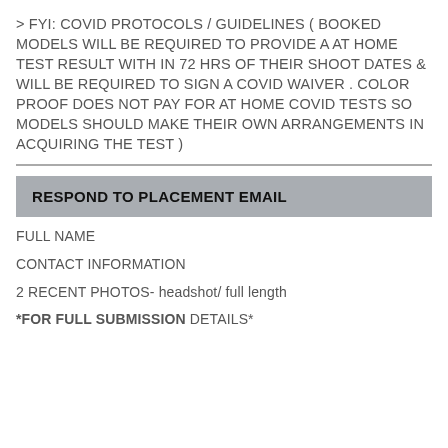> FYI: COVID PROTOCOLS / GUIDELINES ( BOOKED MODELS WILL BE REQUIRED TO PROVIDE A AT HOME TEST RESULT WITH IN 72 HRS OF THEIR SHOOT DATES & WILL BE REQUIRED TO SIGN A COVID WAIVER . COLOR PROOF DOES NOT PAY FOR AT HOME COVID TESTS SO MODELS SHOULD MAKE THEIR OWN ARRANGEMENTS IN ACQUIRING THE TEST )
RESPOND TO PLACEMENT EMAIL
FULL NAME
CONTACT INFORMATION
2 RECENT PHOTOS- headshot/ full length
*FOR FULL SUBMISSION DETAILS*